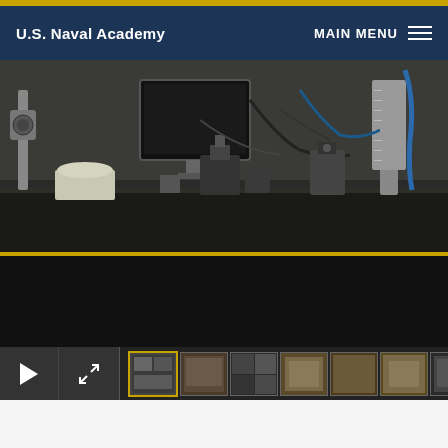U.S. Naval Academy | MAIN MENU
[Figure (screenshot): U.S. Naval Academy website screenshot showing a laboratory video player with scientific equipment including microscopes, monitors, and lab instruments on a bench. Below the lab photo is a black video panel. At the bottom is a video control bar with play button, expand button, and thumbnail strip showing 7 video thumbnails.]